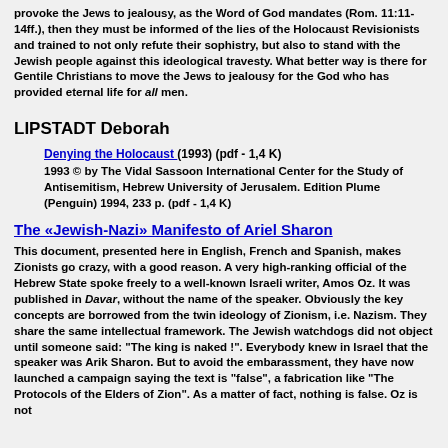provoke the Jews to jealousy, as the Word of God mandates (Rom. 11:11-14ff.), then they must be informed of the lies of the Holocaust Revisionists and trained to not only refute their sophistry, but also to stand with the Jewish people against this ideological travesty. What better way is there for Gentile Christians to move the Jews to jealousy for the God who has provided eternal life for all men.
LIPSTADT Deborah
Denying the Holocaust (1993) (pdf - 1,4 K)
1993 © by The Vidal Sassoon International Center for the Study of Antisemitism, Hebrew University of Jerusalem. Edition Plume (Penguin) 1994, 233 p. (pdf - 1,4 K)
The «Jewish-Nazi» Manifesto of Ariel Sharon
This document, presented here in English, French and Spanish, makes Zionists go crazy, with a good reason. A very high-ranking official of the Hebrew State spoke freely to a well-known Israeli writer, Amos Oz. It was published in Davar, without the name of the speaker. Obviously the key concepts are borrowed from the twin ideology of Zionism, i.e. Nazism. They share the same intellectual framework. The Jewish watchdogs did not object until someone said: "The king is naked !". Everybody knew in Israel that the speaker was Arik Sharon. But to avoid the embarassment, they have now launched a campaign saying the text is "false", a fabrication like "The Protocols of the Elders of Zion". As a matter of fact, nothing is false. Oz is not